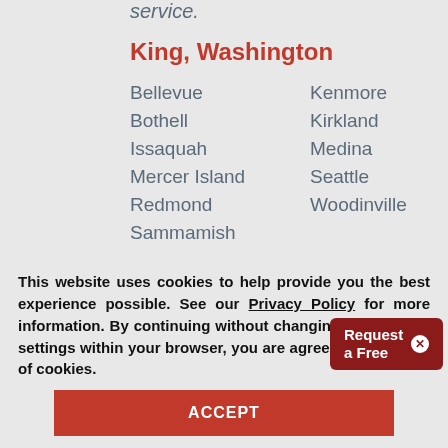service.
King, Washington
Bellevue
Kenmore
Bothell
Kirkland
Issaquah
Medina
Mercer Island
Seattle
Redmond
Woodinville
Sammamish
Snohomish, Washi...
Request a Free
This website uses cookies to help provide you the best experience possible. See our Privacy Policy for more information. By continuing without changing your cookie settings within your browser, you are agreeing to our use of cookies.
ACCEPT